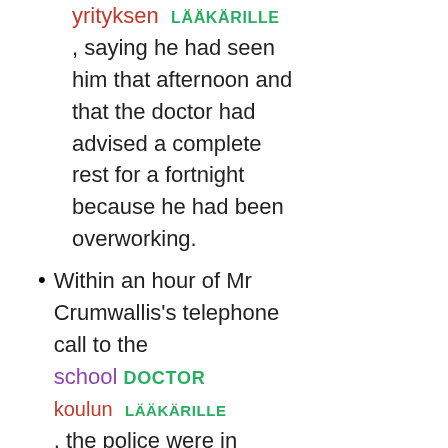yrityksen LÄÄKÄRILLE , saying he had seen him that afternoon and that the doctor had advised a complete rest for a fortnight because he had been overworking.
Within an hour of Mr Crumwallis's telephone call to the school DOCTOR koulun LÄÄKÄRILLE , the police were in residence at Burleigh.
Medical students in his boat tried to help him,